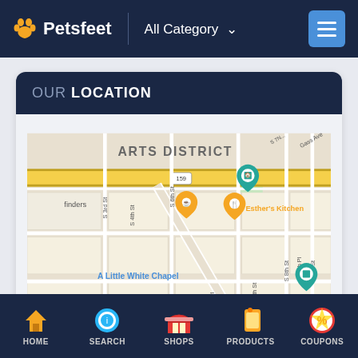Petsfeet — All Category
OUR LOCATION
[Figure (map): Street map showing Arts District area with location pins for Esther's Kitchen, A Little White Chapel, Koolsville Tattoo, and other locations. Streets visible include S 3rd St, S 4th St, S 6th St, S 7th St, S 8th St, S 8th Pl, S 9th St, 5th Pl, Gass Ave. Route 159 visible. Teal pet-store map pins visible.]
HOME  SEARCH  SHOPS  PRODUCTS  COUPONS